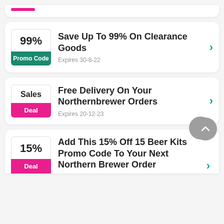Save Up To 99% On Clearance Goods — Promo Code — Expires 30-8-22
Free Delivery On Your Northernbrewer Orders — Deal — Expires 20-12-23
Add This 15% Off 15 Beer Kits Promo Code To Your Next Northern Brewer Order — Deal